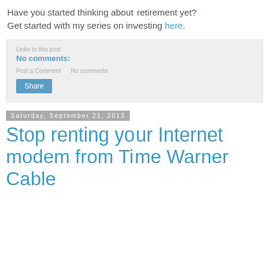Have you started thinking about retirement yet? Get started with my series on investing here.
No comments:
Share
Saturday, September 21, 2013
Stop renting your Internet modem from Time Warner Cable